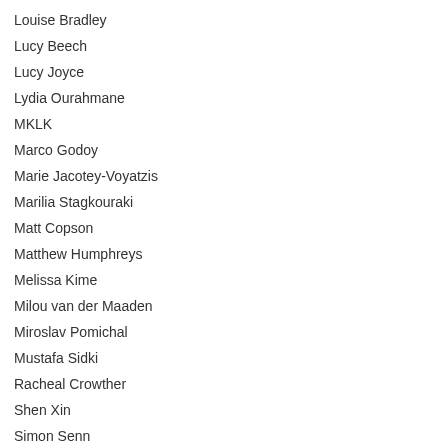Louise Bradley
Lucy Beech
Lucy Joyce
Lydia Ourahmane
MKLK
Marco Godoy
Marie Jacotey-Voyatzis
Marilia Stagkouraki
Matt Copson
Matthew Humphreys
Melissa Kime
Milou van der Maaden
Miroslav Pomichal
Mustafa Sidki
Racheal Crowther
Shen Xin
Simon Senn
Stacey Guthrie
Tajinder Dhami
Tess Vaughan